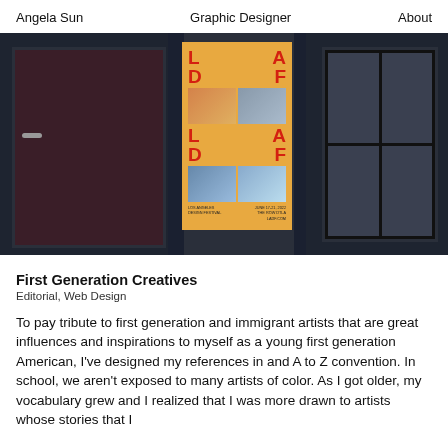Angela Sun   Graphic Designer   About
[Figure (photo): Photograph of a storefront with dark window frames and a yellow/orange poster for LDAF (Los Angeles Design Festival) June 17-21, 2022 displayed in the center window]
First Generation Creatives
Editorial, Web Design
To pay tribute to first generation and immigrant artists that are great influences and inspirations to myself as a young first generation American, I've designed my references in and A to Z convention. In school, we aren't exposed to many artists of color. As I got older, my vocabulary grew and I realized that I was more drawn to artists whose stories that I could relate to. With this book, I want to showcase the